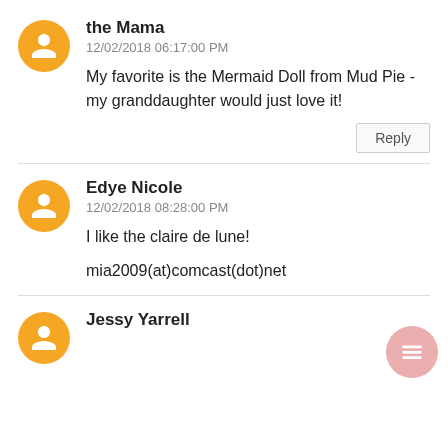the Mama
12/02/2018 06:17:00 PM
My favorite is the Mermaid Doll from Mud Pie - my granddaughter would just love it!
Reply
Edye Nicole
12/02/2018 08:28:00 PM
I like the claire de lune!
mia2009(at)comcast(dot)net
Jessy Yarrell